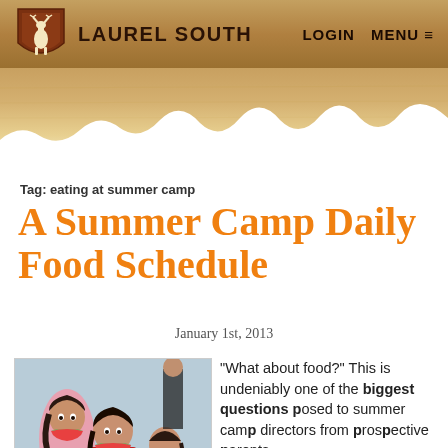LAUREL SOUTH | LOGIN | MENU
[Figure (illustration): Laurel South camp website screenshot header with brown textured banner background]
Tag: eating at summer camp
A Summer Camp Daily Food Schedule
January 1st, 2013
[Figure (photo): Three girls at summer camp smiling and holding watermelon slices up to their mouths, giving thumbs up]
"What about food?" This is undeniably one of the biggest questions posed to summer camp directors from prospective parents